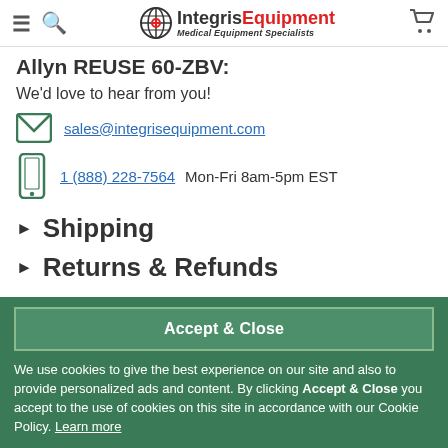Integris Equipment — Medical Equipment Specialists
Allyn REUSE 60-ZBV:
We'd love to hear from you!
sales@integrisequipment.com
1 (888) 228-7564   Mon-Fri 8am-5pm EST
Shipping
Returns & Refunds
Accept & Close
We use cookies to give the best experience on our site and also to provide personalized ads and content. By clicking Accept & Close you accept to the use of cookies on this site in accordance with our Cookie Policy. Learn more